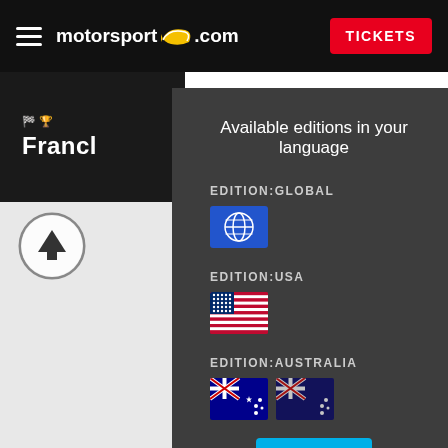motorsport.com — TICKETS
Available editions in your language
EDITION:GLOBAL
EDITION:USA
EDITION:AUSTRALIA
확인하기